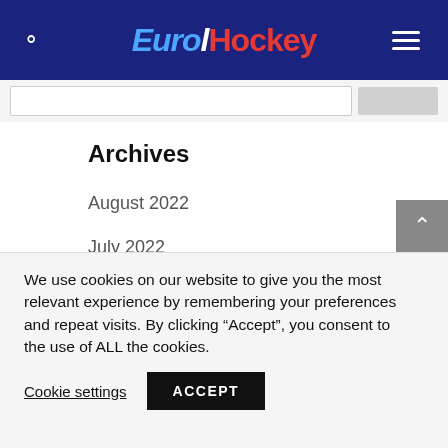EuroHockey
Archives
August 2022
July 2022
June 2022
May 2022
April 2022
We use cookies on our website to give you the most relevant experience by remembering your preferences and repeat visits. By clicking “Accept”, you consent to the use of ALL the cookies.
Cookie settings   ACCEPT